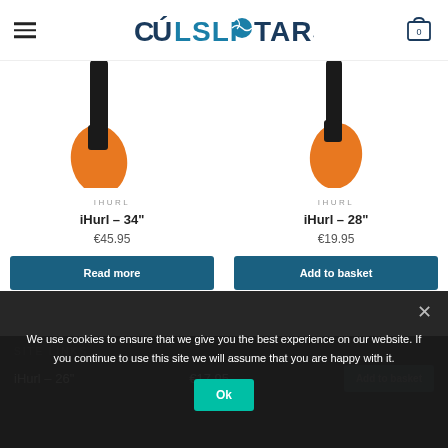CÚL SLIOTARS – navigation header with logo and cart
[Figure (photo): Two hurley sticks with orange bas tips (cropped), shown side by side]
IHURL
iHurl – 34"
€45.95
Read more
IHURL
iHurl – 28"
€19.95
Add to basket
SITE LINKS
iHurl – 26"   €17.95   Add to basket
We use cookies to ensure that we give you the best experience on our website. If you continue to use this site we will assume that you are happy with it.